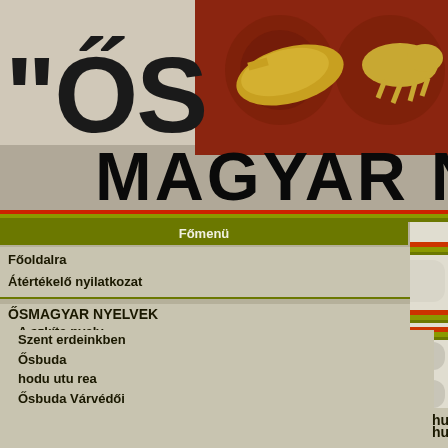[Figure (illustration): Hungarian website header banner with ornate golden artifacts on red decorative background and gold figurine]
ŐSMAGYAR NYEL
Főmenü
Főoldalra
Átértékelő nyilatkozat
ŐSMAGYAR NYELVEK
A szkíta nyelv
A hun nyelv
Etruszk titkok
Anyanyelvünk
Napkelet vándoraitól
Édes Erdély
Ararát népe
Perelő
Szent erdeinkben
Ősbuda
hodu utu rea
Ősbuda Várvédői
Gyöngyösbokréta
Perkupa
humbarandog